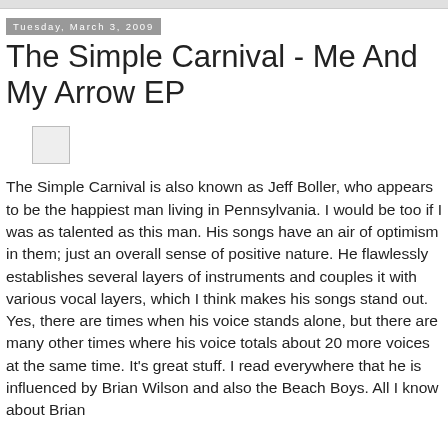Tuesday, March 3, 2009
The Simple Carnival - Me And My Arrow EP
[Figure (other): Small square image placeholder, approximately 38x38px, light gray with border]
The Simple Carnival is also known as Jeff Boller, who appears to be the happiest man living in Pennsylvania. I would be too if I was as talented as this man. His songs have an air of optimism in them; just an overall sense of positive nature. He flawlessly establishes several layers of instruments and couples it with various vocal layers, which I think makes his songs stand out. Yes, there are times when his voice stands alone, but there are many other times where his voice totals about 20 more voices at the same time. It's great stuff. I read everywhere that he is influenced by Brian Wilson and also the Beach Boys. All I know about Brian